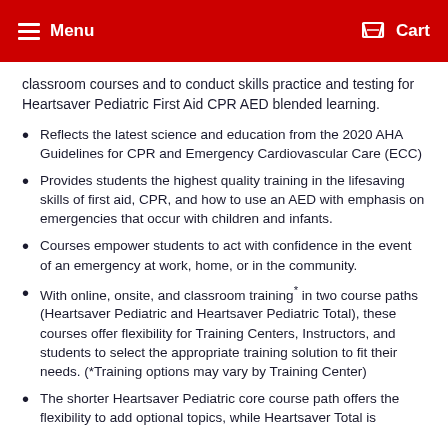Menu   Cart
classroom courses and to conduct skills practice and testing for Heartsaver Pediatric First Aid CPR AED blended learning.
Reflects the latest science and education from the 2020 AHA Guidelines for CPR and Emergency Cardiovascular Care (ECC)
Provides students the highest quality training in the lifesaving skills of first aid, CPR, and how to use an AED with emphasis on emergencies that occur with children and infants.
Courses empower students to act with confidence in the event of an emergency at work, home, or in the community.
With online, onsite, and classroom training* in two course paths (Heartsaver Pediatric and Heartsaver Pediatric Total), these courses offer flexibility for Training Centers, Instructors, and students to select the appropriate training solution to fit their needs. (*Training options may vary by Training Center)
The shorter Heartsaver Pediatric core course path offers the flexibility to add optional topics, while Heartsaver Total is